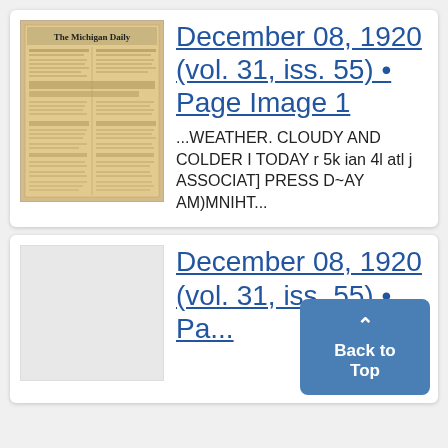[Figure (photo): Thumbnail image of The Michigan Daily newspaper front page]
December 08, 1920 (vol. 31, iss. 55) • Page Image 1
...WEATHER. CLOUDY AND COLDER I TODAY r 5k ian 4l atl j ASSOCIAT] PRESS D~AY AM)MNIHT...
December 08, 1920 (vol. 31, iss. 55) • Pa...